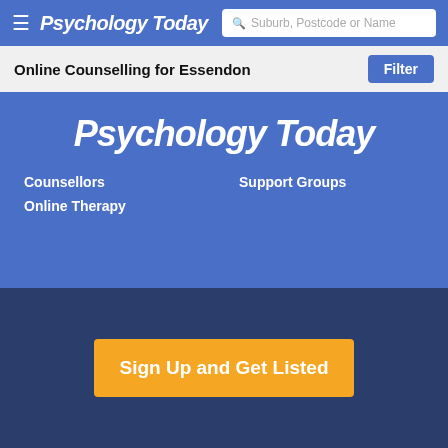Psychology Today — Suburb, Postcode or Name search
Online Counselling for Essendon
[Figure (screenshot): Psychology Today website screenshot showing navigation bar, filter bar, hero section with logo and menu links (Counsellors, Online Therapy, Support Groups), and a Sign Up and Get Listed CTA button on dark blue background]
Counsellors
Online Therapy
Support Groups
Sign Up and Get Listed